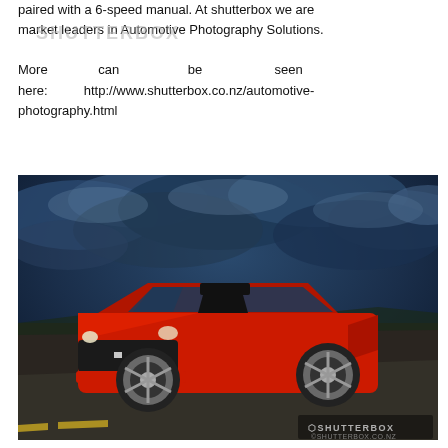paired with a 6-speed manual. At shutterbox we are market leaders in Automotive Photography Solutions. More can be seen here: http://www.shutterbox.co.nz/automotive-photography.html
[Figure (photo): A dramatic photograph of a red Chevrolet Camaro SS sports car parked on a road under a dark, stormy blue sky with dramatic clouds. The car is shot from a low front-three-quarter angle. A Shutterbox watermark appears in the bottom right corner.]